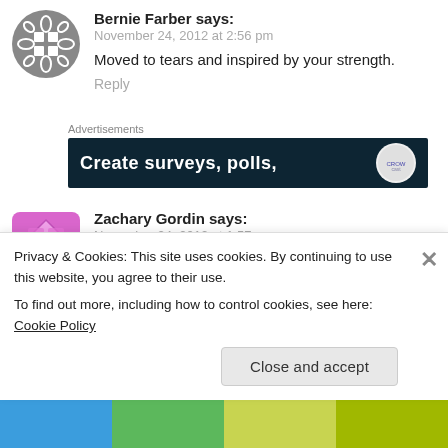Bernie Farber says:
November 24, 2012 at 2:56 pm
Moved to tears and inspired by your strength.
Reply
Advertisements
[Figure (other): Advertisement banner: dark background with text 'Create surveys, polls,' and a circular logo on the right]
Zachary Gordin says:
November 24, 2012 at 1:57 pm
Privacy & Cookies: This site uses cookies. By continuing to use this website, you agree to their use.
To find out more, including how to control cookies, see here: Cookie Policy
Close and accept